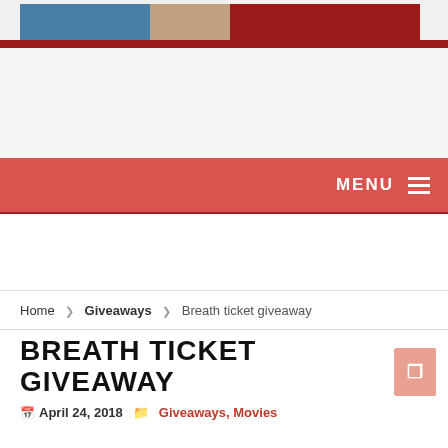[Figure (photo): Website header banner with colored sections in blue, tan, and dark red]
MENU ≡
Home › Giveaways › Breath ticket giveaway
BREATH TICKET GIVEAWAY
April 24, 2018  Giveaways, Movies